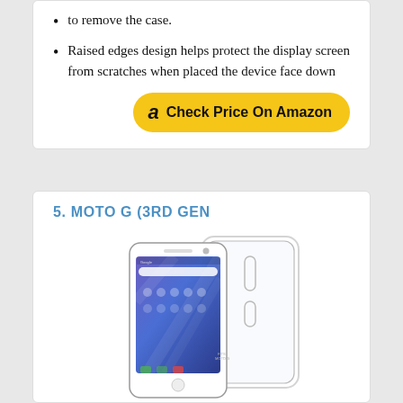to remove the case.
Raised edges design helps protect the display screen from scratches when placed the device face down
[Figure (other): Check Price On Amazon button with Amazon logo]
5. MOTO G (3RD GEN
[Figure (photo): Moto G 3rd Generation smartphone with a clear transparent case, showing the phone face-on and the case slightly behind/beside it]